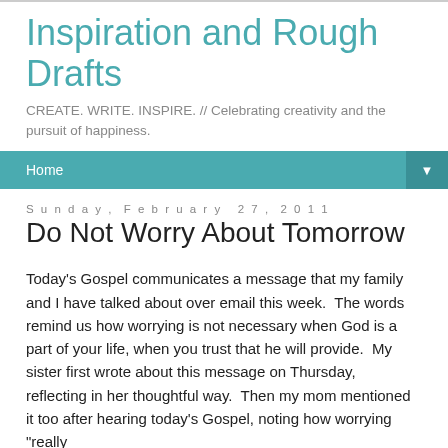Inspiration and Rough Drafts
CREATE. WRITE. INSPIRE. // Celebrating creativity and the pursuit of happiness.
Home ▼
Sunday, February 27, 2011
Do Not Worry About Tomorrow
Today's Gospel communicates a message that my family and I have talked about over email this week.  The words remind us how worrying is not necessary when God is a part of your life, when you trust that he will provide.  My sister first wrote about this message on Thursday, reflecting in her thoughtful way.  Then my mom mentioned it too after hearing today's Gospel, noting how worrying "really